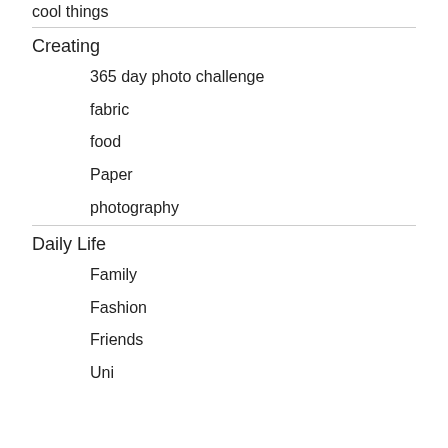cool things
Creating
365 day photo challenge
fabric
food
Paper
photography
Daily Life
Family
Fashion
Friends
Uni